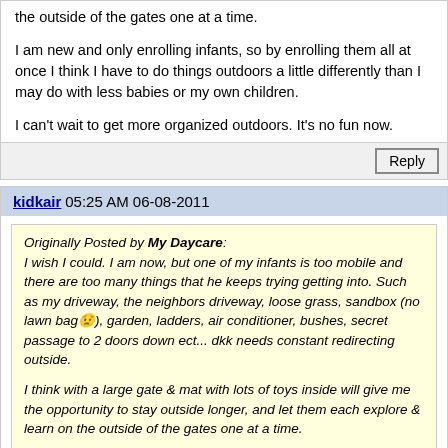the outside of the gates one at a time.
I am new and only enrolling infants, so by enrolling them all at once I think I have to do things outdoors a little differently than I may do with less babies or my own children.
I can't wait to get more organized outdoors. It's no fun now.
kidkair 05:25 AM 06-08-2011
Originally Posted by My Daycare: I wish I could. I am now, but one of my infants is too mobile and there are too many things that he keeps trying getting into. Such as my driveway, the neighbors driveway, loose grass, sandbox (no lawn bag 😟), garden, ladders, air conditioner, bushes, secret passage to 2 doors down ect... dkk needs constant redirecting outside. I think with a large gate & mat with lots of toys inside will give me the opportunity to stay outside longer, and let them each explore & learn on the outside of the gates one at a time. I am new and only enrolling infants, so by enrolling them all at once I think I have to do things outdoors a little differently than I may do with less babies or my own children. I can't wait to get more organized outdoors. It's no fun now.
I only have one infant and one toddler at most at a time all the rest are older kids. I can wear the baby and redirect the toddler like crazy. I keep a pnp nearby for crawlers to I have a place to keep the same in an